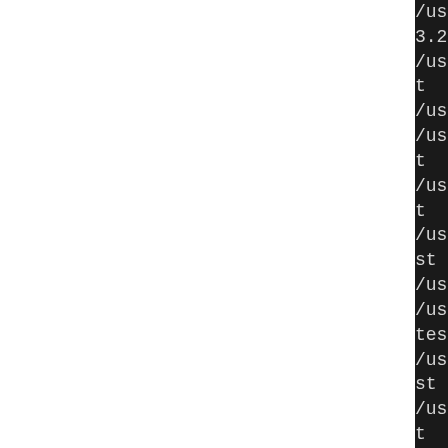/usr/bin/install -c -m 644
3.2/test
/usr/bin/install -c -m 644
t
/usr/bin/install -c -m 644
/usr/bin/install -c -m 644
t
/usr/bin/install -c -m 644
t
/usr/bin/install -c -m 644
st
/usr/bin/install -c -m 644
/usr/bin/install -c -m 644
test
/usr/bin/install -c -m 644
st
/usr/bin/install -c -m 644
t
/usr/bin/install -c -m 644
st
/usr/bin/install -c -m 644
st
/usr/bin/install -c -m 644
/usr/bin/install -c -m 644